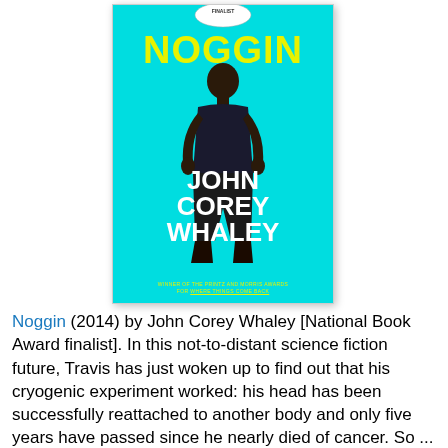[Figure (illustration): Book cover of 'Noggin' by John Corey Whaley. Cyan/turquoise background with the title NOGGIN in large yellow text at the top, author name JOHN COREY WHALEY in large white bold text in the middle, a figure of a person standing in the center, a finalist badge at the top, and small yellow text at the bottom reading 'WINNER OF THE PRINTZ AND MORRIS AWARDS FOR WHERE THINGS COME BACK'.]
Noggin (2014) by John Corey Whaley [National Book Award finalist]. In this not-to-distant science fiction future, Travis has just woken up to find out that his cryogenic experiment worked: his head has been successfully reattached to another body and only five years have passed since he nearly died of cancer. So ... now what? This is an interesting story about growing up (and dealing with others who have grown up more than you have), but I felt like the second half dragged out after the intriguing beginning.